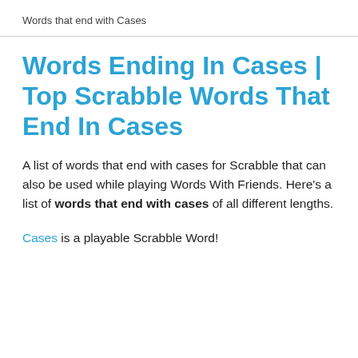Words that end with Cases
Words Ending In Cases | Top Scrabble Words That End In Cases
A list of words that end with cases for Scrabble that can also be used while playing Words With Friends. Here's a list of words that end with cases of all different lengths.
Cases is a playable Scrabble Word!